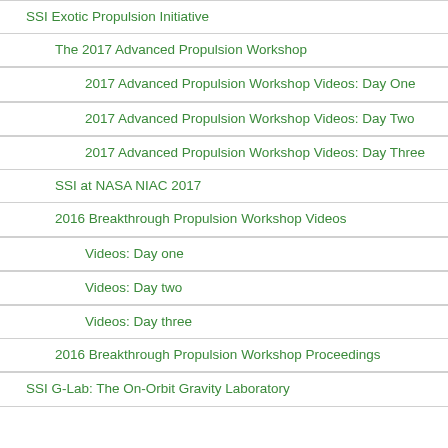SSI Exotic Propulsion Initiative
The 2017 Advanced Propulsion Workshop
2017 Advanced Propulsion Workshop Videos: Day One
2017 Advanced Propulsion Workshop Videos: Day Two
2017 Advanced Propulsion Workshop Videos: Day Three
SSI at NASA NIAC 2017
2016 Breakthrough Propulsion Workshop Videos
Videos: Day one
Videos: Day two
Videos: Day three
2016 Breakthrough Propulsion Workshop Proceedings
SSI G-Lab: The On-Orbit Gravity Laboratory